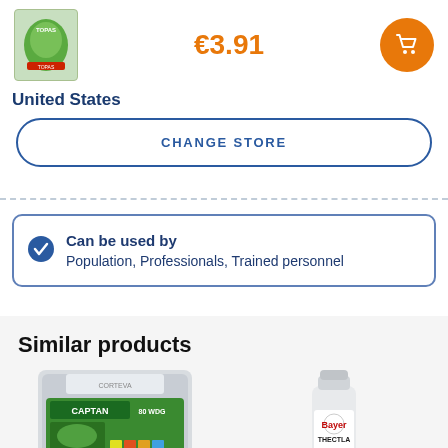€3.91
United States
CHANGE STORE
Can be used by
Population, Professionals, Trained personnel
Similar products
[Figure (photo): CAPTAN 80 WDG product bag - silver packaging with green label]
[Figure (photo): White bottle with Bayer logo and THECTLA label]